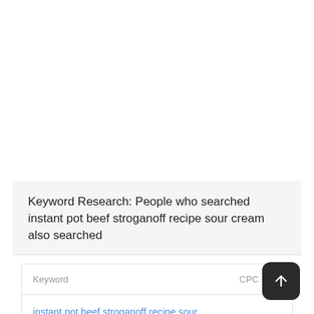Keyword Research: People who searched instant pot beef stroganoff recipe sour cream also searched
| Keyword | CPC | P |
| --- | --- | --- |
| instant pot beef stroganoff recipe sour cream | 1.1… |  |